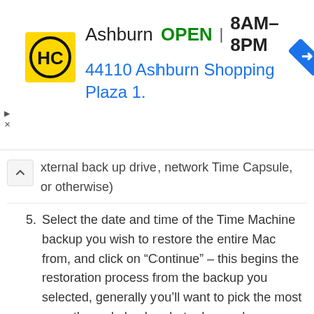[Figure (other): Advertisement banner for HC (Home Depot or similar) store in Ashburn. Shows HC logo (yellow square with HC letters), store name 'Ashburn', status 'OPEN', hours '8AM–8PM', and address '44110 Ashburn Shopping Plaza 1.' with a blue navigation arrow icon. Small play and X controls on the left side.]
xternal back up drive, network Time Capsule, or otherwise)
5. Select the date and time of the Time Machine backup you wish to restore the entire Mac from, and click on “Continue” – this begins the restoration process from the backup you selected, generally you’ll want to pick the most recently made backup but advanced users may choose another date (keep in mind if you pick an earlier date you will lose files and data created from that date onward)
6. When Time Machine has finished restoring everything, the Mac will reboot into the restored